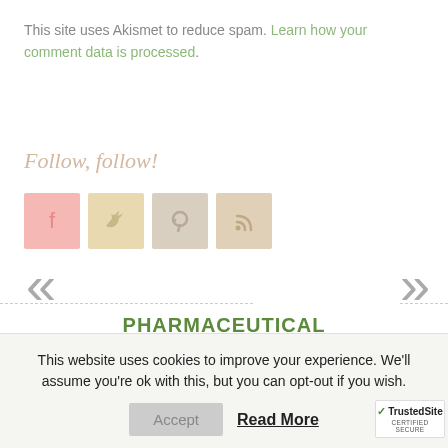This site uses Akismet to reduce spam. Learn how your comment data is processed.
Follow, follow!
[Figure (illustration): Four social media icons: Facebook (pink), Twitter (tan), Pinterest (gray-tan), RSS (tan)]
PHARMACEUTICAL GRADE HEMP CBD OIL
This website uses cookies to improve your experience. We'll assume you're ok with this, but you can opt-out if you wish.
Accept   Read More
[Figure (logo): TrustedSite CERTIFIED SECURE badge]